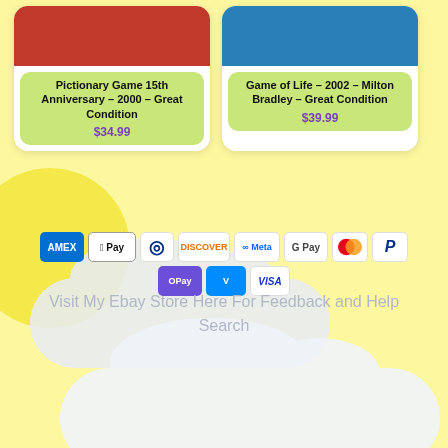[Figure (other): Product card: Pictionary Game 15th Anniversary - 2000 - Great Condition, priced at $34.99, on yellow-green card with white rounded background]
[Figure (other): Product card: Game of Life - 2002 - Milton Bradley - Great Condition, priced at $39.99, on yellow-green card with white rounded background]
[Figure (other): Payment method icons row 1: AMEX, Apple Pay, Diners Club, Discover, Meta Pay, Google Pay, Mastercard, PayPal]
[Figure (other): Payment method icons row 2: OPay, Venmo, Visa]
Visit My Ebay Store Here For Feedback and Help Search